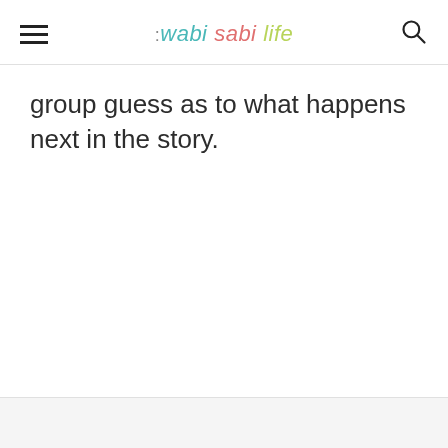:wabi sabi life
group guess as to what happens next in the story.